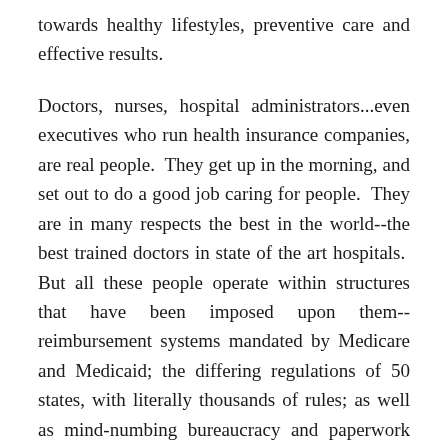towards healthy lifestyles, preventive care and effective results.
Doctors, nurses, hospital administrators...even executives who run health insurance companies, are real people.  They get up in the morning, and set out to do a good job caring for people.  They are in many respects the best in the world--the best trained doctors in state of the art hospitals.  But all these people operate within structures that have been imposed upon them--reimbursement systems mandated by Medicare and Medicaid; the differing regulations of 50 states, with literally thousands of rules; as well as mind-numbing bureaucracy and paperwork from the health plans.  Without too much overstatement, it would be fair to say that the